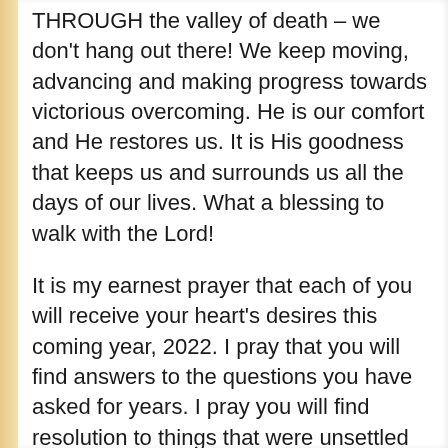THROUGH the valley of death – we don't hang out there!  We keep moving, advancing and making progress towards victorious overcoming.  He is our comfort and He restores us. It is His goodness that keeps us and surrounds us all the days of our lives.  What a blessing to walk with the Lord!
It is my earnest prayer that each of you will receive your heart's desires this coming year, 2022.  I pray that you will find answers to the questions you have asked for years.  I pray you will find resolution to things that were unsettled and out of place.  I pray you will remember your prayers of old and see